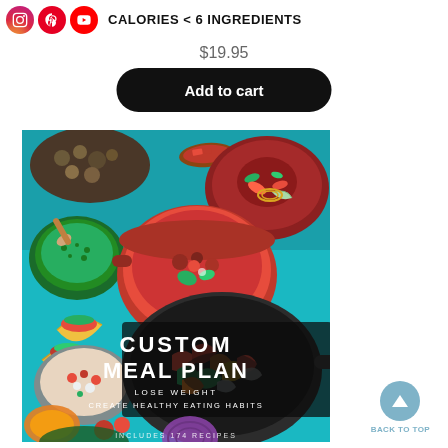CALORIES < 6 INGREDIENTS
$19.95
Add to cart
[Figure (photo): Custom Meal Plan cookbook cover with colorful Mexican-style food bowls on a teal surface, text reads: CUSTOM MEAL PLAN - LOSE WEIGHT - CREATE HEALTHY EATING HABITS - INCLUDES 174 RECIPES]
BACK TO TOP